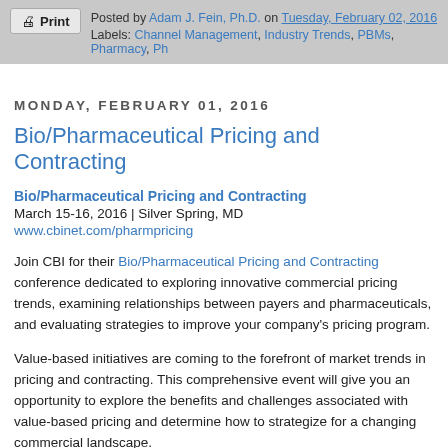Posted by Adam J. Fein, Ph.D. on Tuesday, February 02, 2016. Labels: Channel Management, Industry Trends, PBMs, Pharmacy, Ph...
MONDAY, FEBRUARY 01, 2016
Bio/Pharmaceutical Pricing and Contracting
Bio/Pharmaceutical Pricing and Contracting
March 15-16, 2016 | Silver Spring, MD
www.cbinet.com/pharmpricing
Join CBI for their Bio/Pharmaceutical Pricing and Contracting conference dedicated to exploring innovative commercial pricing trends, examining relationships between payers and pharmaceuticals, and evaluating strategies to improve your company's pricing program.
Value-based initiatives are coming to the forefront of market trends in pricing and contracting. This comprehensive event will give you an opportunity to explore the benefits and challenges associated with value-based pricing and determine how to strategize for a changing commercial landscape.
With the recent attention being given to pharmaceutical pricing in the media, how will contracting evolve?